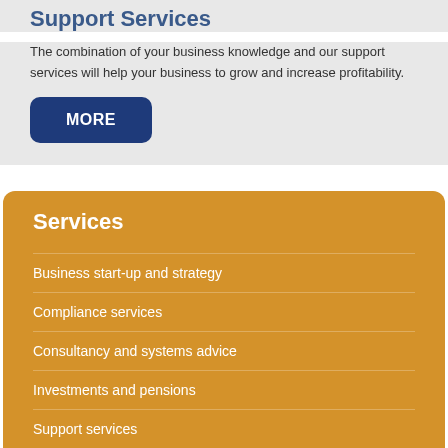Support Services
The combination of your business knowledge and our support services will help your business to grow and increase profitability.
MORE
Services
Business start-up and strategy
Compliance services
Consultancy and systems advice
Investments and pensions
Support services
Taxation